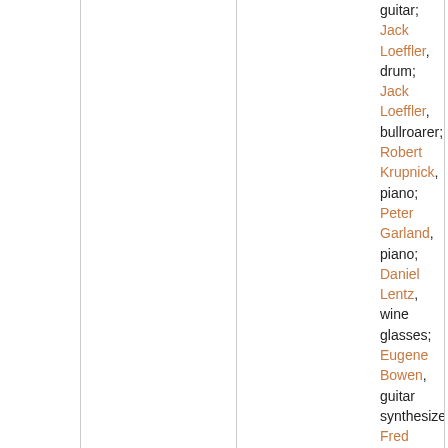guitar; Jack Loeffler, drum; Jack Loeffler, bullroarer; Robert Krupnick, piano; Peter Garland, piano; Daniel Lentz, wine glasses; Eugene Bowen, guitar synthesizer; Fred Parcells, trombone; Janyce Collins, voice; John Kuhlman, voice; Michael Jon Fink, celesta; Beverly Johnson, marimba; Gary Eister, wine glasses; Stan Carey, wine glasses; Dane Little, cello; Ingram Marshall, piano; Fausto, mandolin; Ingram Marshall, electronics; Chas Smith, pedal steel guitar; Chas Smith, banjo; William Winant, marimba; Gary Eister, voice; Bryan Pezzone,